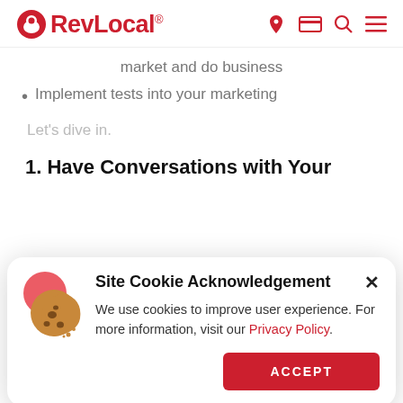RevLocal® [navigation icons: location, card, search, menu]
market and do business
Implement tests into your marketing
Let’s dive in.
1. Have Conversations with Your
[Figure (screenshot): Cookie acknowledgement modal overlay with cookie icon, title 'Site Cookie Acknowledgement', body text about cookies with Privacy Policy link, and an ACCEPT button.]